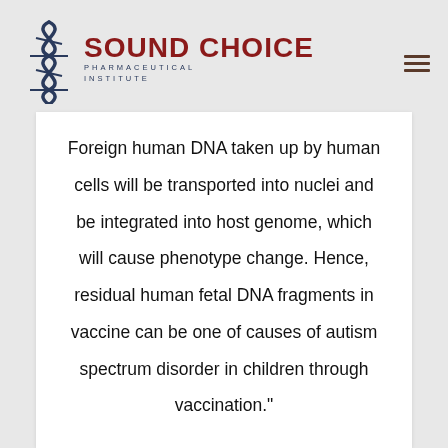[Figure (logo): Sound Choice Pharmaceutical Institute logo with DNA helix graphic and red/blue text]
Foreign human DNA taken up by human cells will be transported into nuclei and be integrated into host genome, which will cause phenotype change. Hence, residual human fetal DNA fragments in vaccine can be one of causes of autism spectrum disorder in children through vaccination."